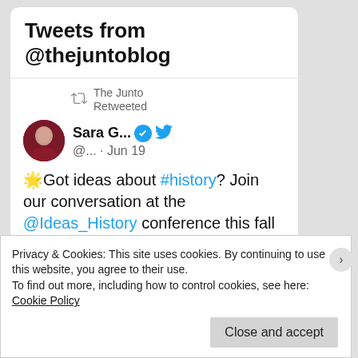Tweets from @thejuntoblog
The Junto Retweeted
Sara G... @... · Jun 19
🌟Got ideas about #history? Join our conversation at the @Ideas_History conference this fall in #Boston. CFP due 30 June! #USIH2022 #USIH
Privacy & Cookies: This site uses cookies. By continuing to use this website, you agree to their use.
To find out more, including how to control cookies, see here: Cookie Policy
Close and accept